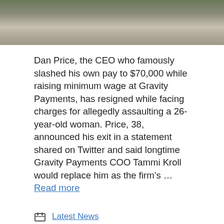[Figure (photo): Partial photo showing a person outdoors, cropped at top of page]
Dan Price, the CEO who famously slashed his own pay to $70,000 while raising minimum wage at Gravity Payments, has resigned while facing charges for allegedly assaulting a 26-year-old woman. Price, 38, announced his exit in a statement shared on Twitter and said longtime Gravity Payments COO Tammi Kroll would replace him as the firm’s … Read more
Latest News
business, ceos, LEGAL, Payments, TECH
Leave a comment